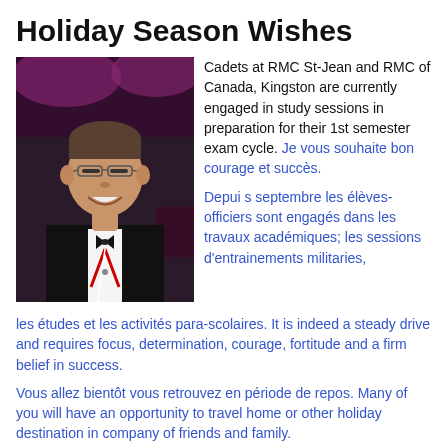Holiday Season Wishes
[Figure (photo): Portrait photo of a man in formal wear (black tuxedo with bow tie) with a red lanyard, smiling, at an event with pink/purple lighting in background.]
Cadets at RMC St-Jean and RMC of Canada, Kingston are currently engaged in study sessions in preparation for their 1st semester exam cycle. Je vous souhaite bon courage et succès.

Depui s septembre les élèves-officiers sont engagés dans les travaux académiques; les sessions d'entrainements militaries, les études et les activités para-scolaires. It is indeed a steady drive and requires focus, determination, courage, fortitude and a firm belief in success.
Vous allez bientôt vous retrouvez en période de repos. Many of you will have an opportunity to travel home or other holiday destination in company of friends and family.